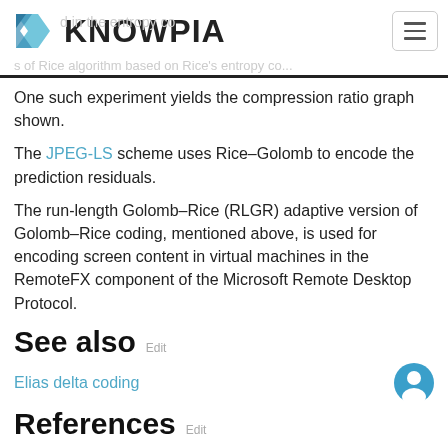KNOWPIA
One such experiment yields the compression ratio graph shown.
The JPEG-LS scheme uses Rice–Golomb to encode the prediction residuals.
The run-length Golomb–Rice (RLGR) adaptive version of Golomb–Rice coding, mentioned above, is used for encoding screen content in virtual machines in the RemoteFX component of the Microsoft Remote Desktop Protocol.
See also Edit
Elias delta coding
References Edit